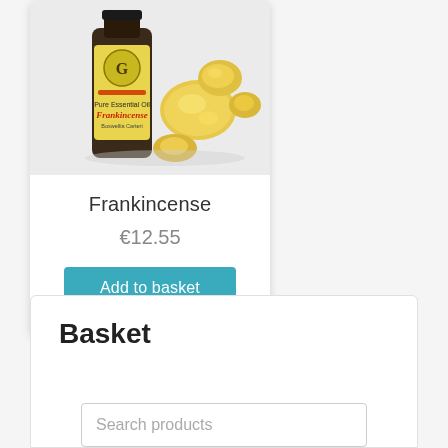[Figure (photo): Product photo of Frankincense essential oil bottle with gold label showing 'Pure Essential Oil Frankincense Boswellia Carteri' next to yellow frankincense resin pieces, on a light grey background]
Frankincense
€12.55
Add to basket
Basket
Search products